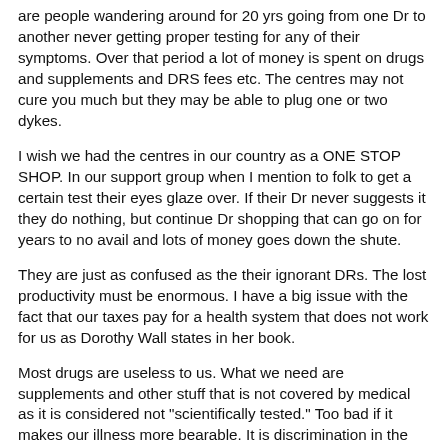are people wandering around for 20 yrs going from one Dr to another never getting proper testing for any of their symptoms. Over that period a lot of money is spent on drugs and supplements and DRS fees etc. The centres may not cure you much but they may be able to plug one or two dykes.
I wish we had the centres in our country as a ONE STOP SHOP. In our support group when I mention to folk to get a certain test their eyes glaze over. If their Dr never suggests it they do nothing, but continue Dr shopping that can go on for years to no avail and lots of money goes down the shute.
They are just as confused as the their ignorant DRs. The lost productivity must be enormous. I have a big issue with the fact that our taxes pay for a health system that does not work for us as Dorothy Wall states in her book.
Most drugs are useless to us. What we need are supplements and other stuff that is not covered by medical as it is considered not "scientifically tested." Too bad if it makes our illness more bearable. It is discrimination in the highest order. You can have a heart transplant and charge the Govt big time,